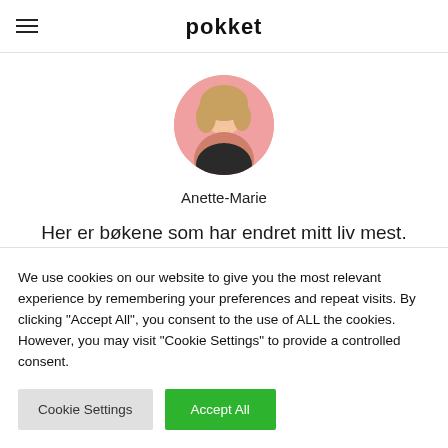pokket
[Figure (photo): Circular profile photo of Anette-Marie against a pink background]
Anette-Marie
Her er bøkene som har endret mitt liv mest.
LES MER
INSTAGRAM   SNAPCHAT
We use cookies on our website to give you the most relevant experience by remembering your preferences and repeat visits. By clicking "Accept All", you consent to the use of ALL the cookies. However, you may visit "Cookie Settings" to provide a controlled consent.